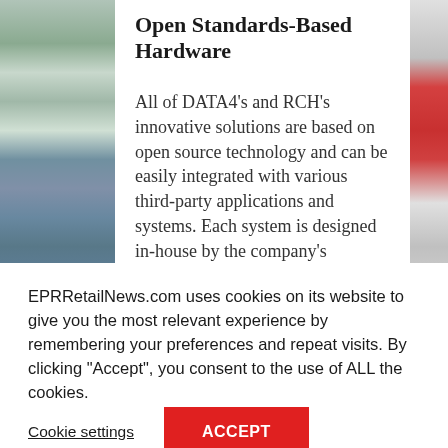[Figure (photo): Left strip showing retail/store imagery with shelves and products in muted tones]
Open Standards-Based Hardware
All of DATA4’s and RCH’s innovative solutions are based on open source technology and can be easily integrated with various third-party applications and systems. Each system is designed in-house by the company’s Research and Development teams, delivering efficient and
[Figure (photo): Right strip showing partial red and grey imagery]
EPRRetailNews.com uses cookies on its website to give you the most relevant experience by remembering your preferences and repeat visits. By clicking “Accept”, you consent to the use of ALL the cookies.
Cookie settings
ACCEPT